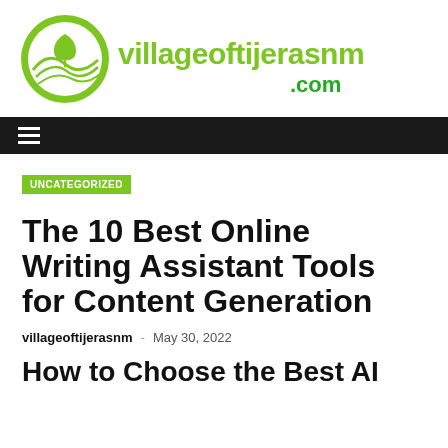[Figure (logo): villageoftijerasnm.com logo with green circular emblem containing landscape lines and a leaf, with green text reading 'villageoftijerasnm' and '.com']
Navigation bar with hamburger menu icon
UNCATEGORIZED
The 10 Best Online Writing Assistant Tools for Content Generation
villageoftijerasnm - May 30, 2022
How to Choose the Best AI